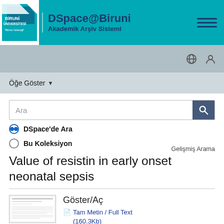DSpace@Biruni Akademik Arşiv Sistemi
Öğe Göster
Ara
DSpace'de Ara
Bu Koleksiyon
Gelişmiş Arama
Value of resistin in early onset neonatal sepsis
Göster/Aç
Tam Metin / Full Text (160.3Kb)